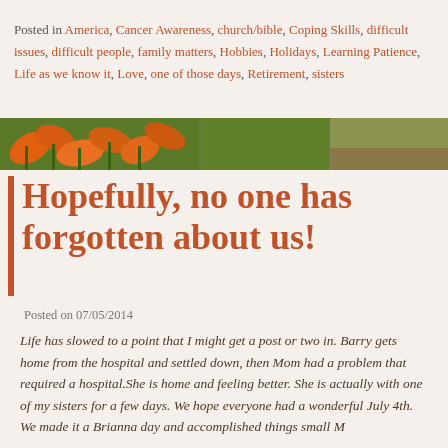Posted in America, Cancer Awareness, church/bible, Coping Skills, difficult issues, difficult people, family matters, Hobbies, Holidays, Learning Patience, Life as we know it, Love, one of those days, Retirement, sisters
[Figure (photo): Horizontal banner photo showing orange day lilies on the left, green foliage in the middle, and a garden/soil area on the right]
Hopefully, no one has forgotten about us!
Posted on 07/05/2014
Life has slowed to a point that I might get a post or two in. Barry gets home from the hospital and settled down, then Mom had a problem that required a hospital.She is home and feeling better. She is actually with one of my sisters for a few days. We hope everyone had a wonderful July 4th. We made it a Brianna day and accomplished things small M